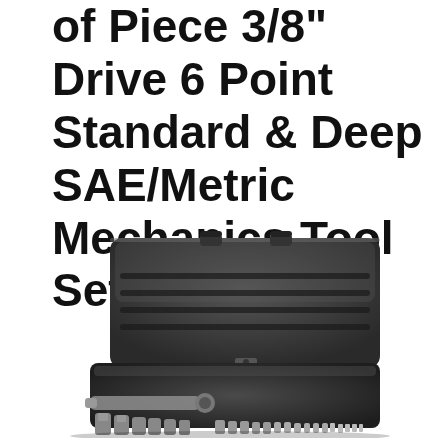of Piece 3/8" Drive 6 Point Standard & Deep SAE/Metric Mechanics Tool Set
[Figure (photo): A black mechanics tool set in an open carrying case, with socket wrench and various sockets arranged in the lower tray. The case is dark gray/black with latches visible at the top.]